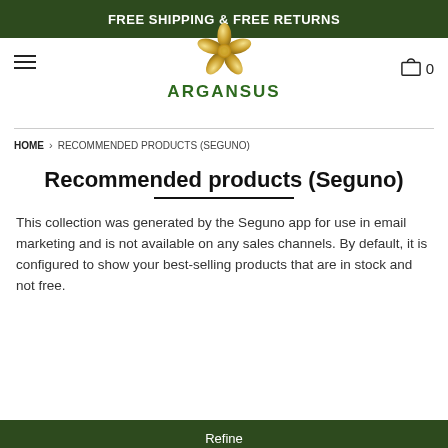FREE SHIPPING & FREE RETURNS
[Figure (logo): Argansus gold flower logo with brand name ARGANSUS below]
HOME > RECOMMENDED PRODUCTS (SEGUNO)
Recommended products (Seguno)
This collection was generated by the Seguno app for use in email marketing and is not available on any sales channels. By default, it is configured to show your best-selling products that are in stock and not free.
Refine